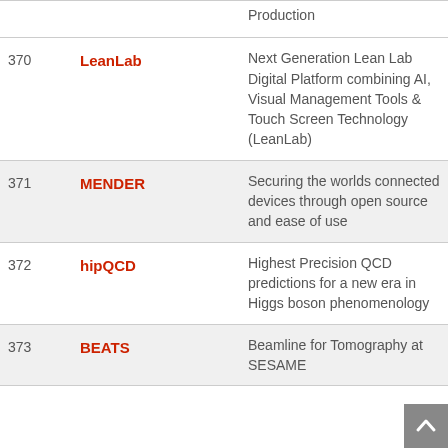| # | Name | Description |
| --- | --- | --- |
|  |  | Production |
| 370 | LeanLab | Next Generation Lean Lab Digital Platform combining AI, Visual Management Tools & Touch Screen Technology (LeanLab) |
| 371 | MENDER | Securing the worlds connected devices through open source and ease of use |
| 372 | hipQCD | Highest Precision QCD predictions for a new era in Higgs boson phenomenology |
| 373 | BEATS | Beamline for Tomography at SESAME |